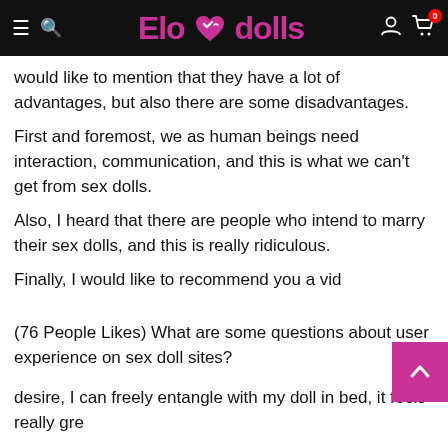Elovedolls
would like to mention that they have a lot of advantages, but also there are some disadvantages.
First and foremost, we as human beings need interaction, communication, and this is what we can't get from sex dolls.
Also, I heard that there are people who intend to marry their sex dolls, and this is really ridiculous.
Finally, I would like to recommend you a vid
(76 People Likes) What are some questions about user experience on sex doll sites?
desire, I can freely entangle with my doll in bed, it feels really gre
Realistic Sex Doll t. At present, I already have three dolls in my